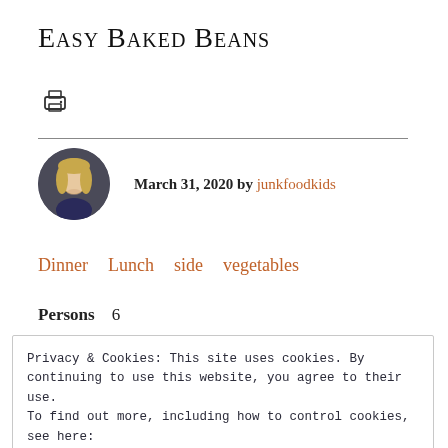Easy Baked Beans
[Figure (illustration): Print icon (printer symbol)]
March 31, 2020 by junkfoodkids
Dinner   Lunch   side   vegetables
Persons   6
Privacy & Cookies: This site uses cookies. By continuing to use this website, you agree to their use.
To find out more, including how to control cookies, see here:
Cookie Policy